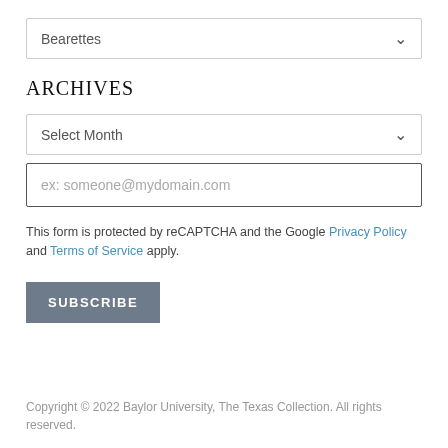Bearettes
ARCHIVES
Select Month
ex: someone@mydomain.com
This form is protected by reCAPTCHA and the Google Privacy Policy and Terms of Service apply.
SUBSCRIBE
Copyright © 2022 Baylor University, The Texas Collection. All rights reserved.